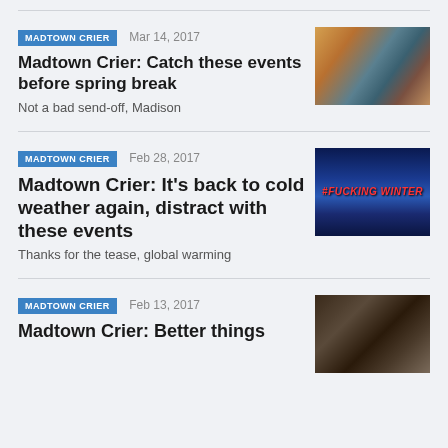[Figure (photo): Article thumbnail: man with sunglasses smiling, spring break vibe]
MADTOWN CRIER  Mar 14, 2017
Madtown Crier: Catch these events before spring break
Not a bad send-off, Madison
MADTOWN CRIER  Feb 28, 2017
Madtown Crier: It's back to cold weather again, distract with these events
Thanks for the tease, global warming
[Figure (photo): Article thumbnail: winter themed image with #FUCKING WINTER text]
MADTOWN CRIER  Feb 13, 2017
Madtown Crier: Better things
[Figure (photo): Article thumbnail: dark close-up image]